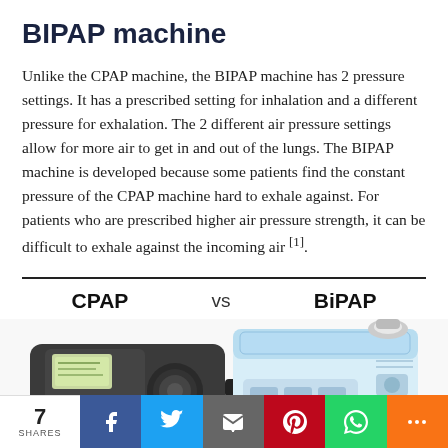BIPAP machine
Unlike the CPAP machine, the BIPAP machine has 2 pressure settings. It has a prescribed setting for inhalation and a different pressure for exhalation. The 2 different air pressure settings allow for more air to get in and out of the lungs. The BIPAP machine is developed because some patients find the constant pressure of the CPAP machine hard to exhale against. For patients who are prescribed higher air pressure strength, it can be difficult to exhale against the incoming air [1].
[Figure (photo): Side-by-side comparison of CPAP machine (dark grey device with display and dial) and BiPAP machine (light blue/white device with humidifier), labeled 'CPAP vs BiPAP' at top]
7 SHARES | Facebook | Twitter | Email | Pinterest | WhatsApp | More